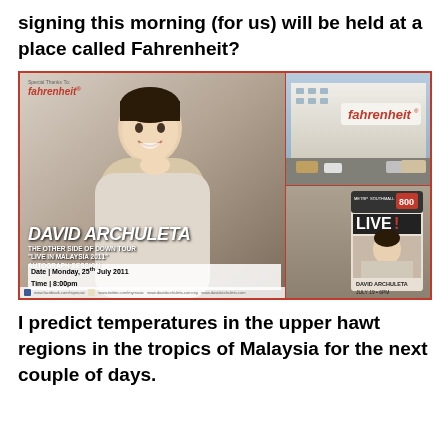signing this morning (for us) will be held at a place called Fahrenheit?
[Figure (photo): Composite image showing a David Archuleta autograph session poster for 'The Other Side of Down Tour - Live in Malaysia 2011' at Fahrenheit mall, dated Monday 25th July 2011 at 8:00pm, alongside photos of the Fahrenheit mall exterior and an indoor promotional banner for David Archuleta Live event on July 19 at 6PM.]
I predict temperatures in the upper hawt regions in the tropics of Malaysia for the next couple of days.